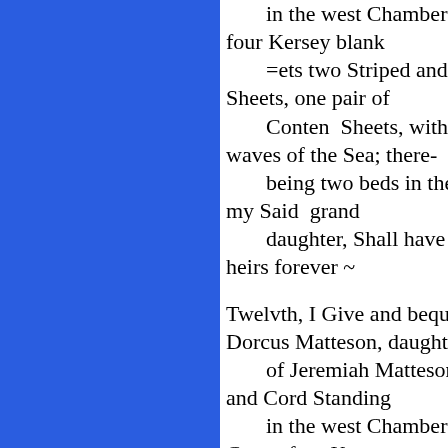in the west Chamber with bolste four Kersey blank =ets two Striped and two white f Sheets, one pair of Conten Sheets, with one Cover waves of the Sea; there- being two beds in the west Cha my Said grand daughter, Shall have her Choice heirs forever ~ Twelvth, I Give and bequeath to my Dorcus Matteson, daughter of Jeremiah Matteson one bed u and Cord Standing in the west Chamber with balust Cases, four Kersey blankets two striped and two wh Sheets one pair of Cotten Sheets with one Cove Victory to her & her heirs forever ~ 13th I Give and bequeath to my gr Wait Matteson ~ daughter of Benoni Matteson, d bed and & Cord Stan